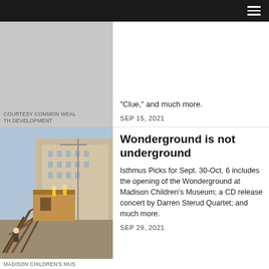Navigation menu
COURTESY COMMON WEALTH DEVELOPMENT
"Clue," and much more.
SEP 15, 2021
[Figure (photo): Construction site photo showing wooden structures being built, with a building in the background. Workers visible on site.]
MADISON CHILDREN'S MUSEUM
Wonderground is not underground
Isthmus Picks for Sept. 30-Oct. 6 includes the opening of the Wonderground at Madison Children's Museum; a CD release concert by Darren Sterud Quartet; and much more.
SEP 29, 2021
[Figure (photo): Partial photo visible at bottom left, mostly obscured by cookie banner.]
SARAH MAUGHAN
Black History Month keynote by Ruth E
isthmus.com uses cookies to ensure you get the best experience on our website.  Learn more
Got it!